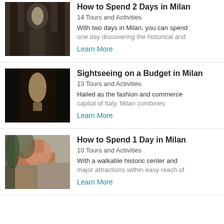[Figure (photo): Interior of an ornate church with statues and baroque architecture]
How to Spend 2 Days in Milan
14 Tours and Activities
With two days in Milan, you can spend one day discovering the historical and
Learn More
[Figure (photo): Statue of a figure in a dark church or museum setting]
Sightseeing on a Budget in Milan
13 Tours and Activities
Hailed as the fashion and commerce capital of Italy, Milan combines
Learn More
[Figure (photo): Exterior view of a historic domed building in Milan with trees in foreground]
How to Spend 1 Day in Milan
10 Tours and Activities
With a walkable historic center and major attractions within easy reach of
Learn More